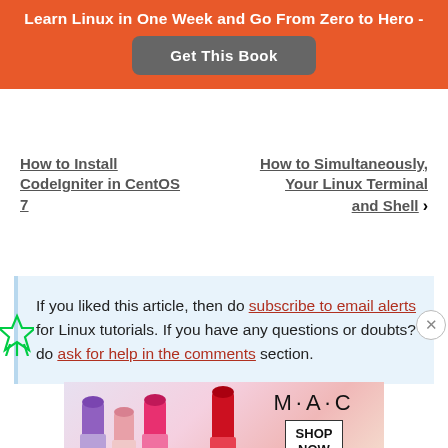Learn Linux in One Week and Go From Zero to Hero - Get This Book
← How to Install CodeIgniter in CentOS 7
How to Simultaneously Your Linux Terminal and Shell →
If you liked this article, then do subscribe to email alerts for Linux tutorials. If you have any questions or doubts? do ask for help in the comments section.
[Figure (photo): MAC lipstick advertisement with SHOP NOW button]